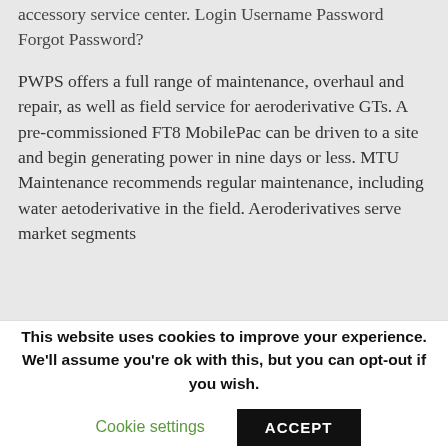accessory service center. Login Username Password Forgot Password?
PWPS offers a full range of maintenance, overhaul and repair, as well as field service for aeroderivative GTs. A pre-commissioned FT8 MobilePac can be driven to a site and begin generating power in nine days or less. MTU Maintenance recommends regular maintenance, including water aetoderivative in the field. Aeroderivatives serve market segments
This website uses cookies to improve your experience. We'll assume you're ok with this, but you can opt-out if you wish.
Cookie settings
ACCEPT